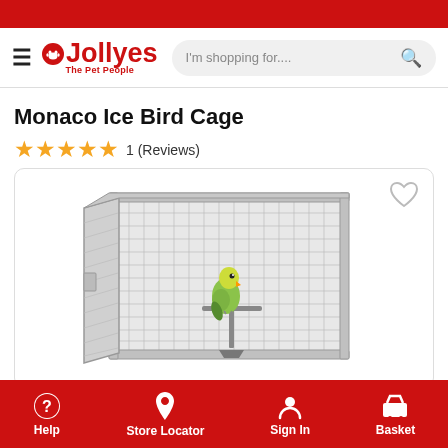Jollyes - The Pet People | I'm shopping for....
Monaco Ice Bird Cage
★★★★★ 1 (Reviews)
[Figure (photo): Photo of Monaco Ice Bird Cage — a large rectangular wire bird cage with white/silver frame, with a green bird perched on a stand inside, shown against white background. Heart/wishlist icon in top right corner.]
Help  Store Locator  Sign In  Basket